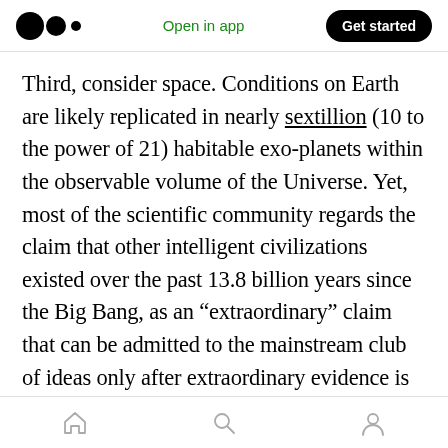Medium logo | Open in app | Get started
Third, consider space. Conditions on Earth are likely replicated in nearly sextillion (10 to the power of 21) habitable exo-planets within the observable volume of the Universe. Yet, most of the scientific community regards the claim that other intelligent civilizations existed over the past 13.8 billion years since the Big Bang, as an “extraordinary” claim that can be admitted to the mainstream club of ideas only after extraordinary evidence is found. But such evidence may be subtle, requiring extraordinary effort similar in scale to the search for dark
Home | Search | Profile